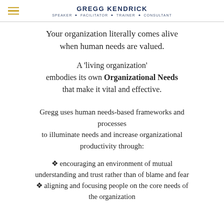GREGG KENDRICK — SPEAKER ✦ FACILITATOR ✦ TRAINER ✦ CONSULTANT
Your organization literally comes alive when human needs are valued.
A 'living organization' embodies its own Organizational Needs that make it vital and effective.
Gregg uses human needs-based frameworks and processes to illuminate needs and increase organizational productivity through:
❖ encouraging an environment of mutual understanding and trust rather than of blame and fear
❖ aligning and focusing people on the core needs of the organization